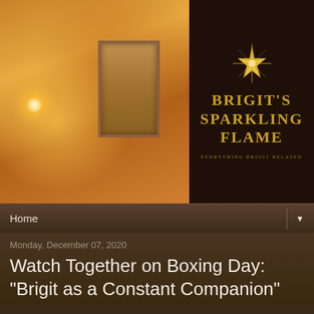[Figure (photo): Blog header banner with left side showing a warm amber/golden blurred photo of a glass and candle light scene, and right side showing dark brown background with star logo and text 'BRIGIT'S SPARKLING FLAME' and subtitle 'Everything Brigit Related']
BRIGIT'S SPARKLING FLAME
Everything Brigit Related
Home
Monday, December 07, 2020
Watch Together on Boxing Day: "Brigit as a Constant Companion"